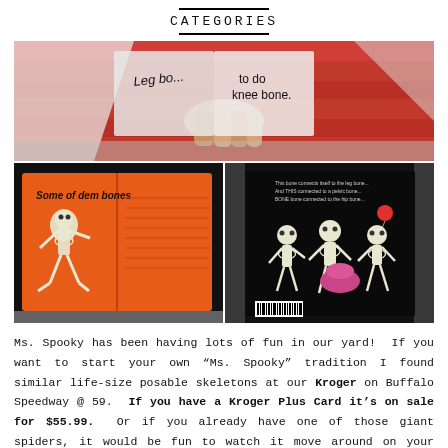CATEGORIES
[Figure (photo): Three photos of children's skeleton-themed books. Top: A hand holding open a book with red/white illustrated pages showing 'Leg bone' and 'to do knee bone' text. Bottom left: Open book spread with orange pages showing a skeleton illustration and text 'Some of dem bones'. Bottom right: Book cover on black background showing three white skeleton figures dancing/playing.]
Ms. Spooky has been having lots of fun in our yard!  If you want to start your own “Ms. Spooky” tradition I found similar life-size posable skeletons at our Kroger on Buffalo Speedway @ 59.  If you have a Kroger Plus Card it’s on sale for $55.99.  Or if you already have one of those giant spiders, it would be fun to watch it move around on your house, a “Spider on the House”